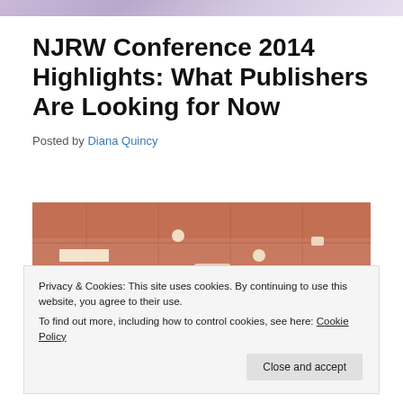NJRW Conference 2014 Highlights: What Publishers Are Looking for Now
Posted by Diana Quincy
[Figure (photo): Interior photo of a conference room ceiling with recessed lighting, warm reddish-brown tones, and dark lower portion showing audience silhouettes]
Privacy & Cookies: This site uses cookies. By continuing to use this website, you agree to their use.
To find out more, including how to control cookies, see here: Cookie Policy
Close and accept